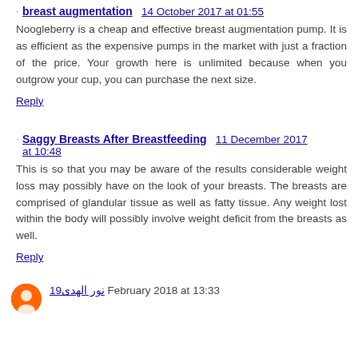breast augmentation  14 October 2017 at 01:55
Noogleberry is a cheap and effective breast augmentation pump. It is as efficient as the expensive pumps in the market with just a fraction of the price. Your growth here is unlimited because when you outgrow your cup, you can purchase the next size.
Reply
Saggy Breasts After Breastfeeding  11 December 2017 at 10:48
This is so that you may be aware of the results considerable weight loss may possibly have on the look of your breasts. The breasts are comprised of glandular tissue as well as fatty tissue. Any weight lost within the body will possibly involve weight deficit from the breasts as well.
Reply
نور الهدى19  February 2018 at 13:33